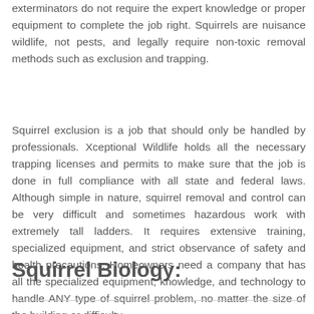exterminators do not require the expert knowledge or proper equipment to complete the job right. Squirrels are nuisance wildlife, not pests, and legally require non-toxic removal methods such as exclusion and trapping.
Squirrel exclusion is a job that should only be handled by professionals. Xceptional Wildlife holds all the necessary trapping licenses and permits to make sure that the job is done in full compliance with all state and federal laws. Although simple in nature, squirrel removal and control can be very difficult and sometimes hazardous work with extremely tall ladders. It requires extensive training, specialized equipment, and strict observance of safety and health precautions. Homeowners need a company that has all the specialized equipment, knowledge, and technology to handle ANY type of squirrel problem, no matter the size of the building or difficulty.
Squirrel Biology: